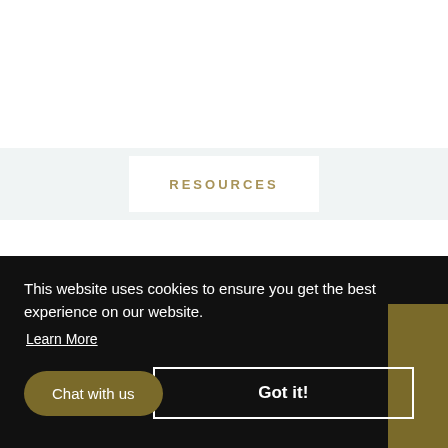RESOURCES
This website uses cookies to ensure you get the best experience on our website.
Learn More
Chat with us
Got it!